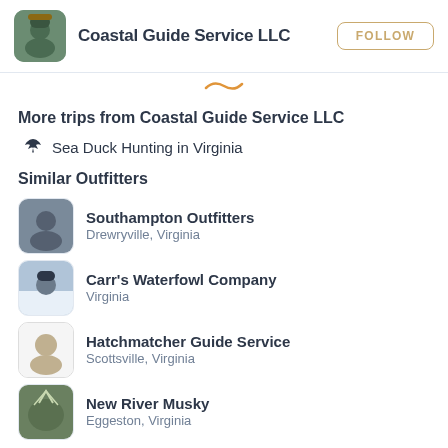Coastal Guide Service LLC
More trips from Coastal Guide Service LLC
Sea Duck Hunting in Virginia
Similar Outfitters
Southampton Outfitters
Drewryville, Virginia
Carr's Waterfowl Company
Virginia
Hatchmatcher Guide Service
Scottsville, Virginia
New River Musky
Eggeston, Virginia